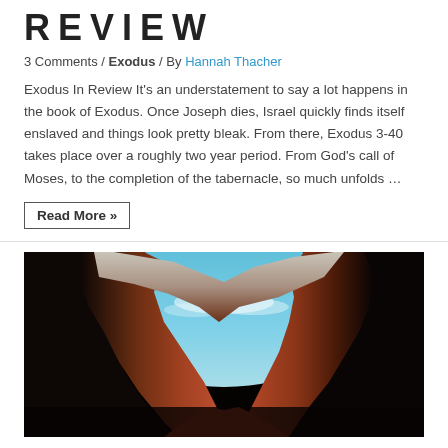REVIEW
3 Comments / Exodus / By Hannah Thacher
Exodus In Review It's an understatement to say a lot happens in the book of Exodus. Once Joseph dies, Israel quickly finds itself enslaved and things look pretty bleak. From there, Exodus 3-40 takes place over a roughly two year period. From God's call of Moses, to the completion of the tabernacle, so much unfolds …
Read More »
[Figure (photo): A photograph of a slot canyon with curved red-orange sandstone rock formations and a glimpse of blue sky above, taken from a low angle looking up through the narrow canyon opening.]